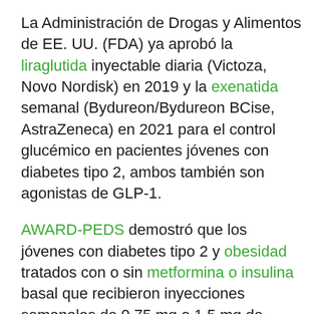La Administración de Drogas y Alimentos de EE. UU. (FDA) ya aprobó la liraglutida inyectable diaria (Victoza, Novo Nordisk) en 2019 y la exenatida semanal (Bydureon/Bydureon BCise, AstraZeneca) en 2021 para el control glucémico en pacientes jóvenes con diabetes tipo 2, ambos también son agonistas de GLP-1.
AWARD-PEDS demostró que los jóvenes con diabetes tipo 2 y obesidad tratados con o sin metformina o insulina basal que recibieron inyecciones semanales de 0,75 mg o 1,5 mg de dulaglutida tenían A1c más bajo a las 26 semanas que los pacientes que recibieron p